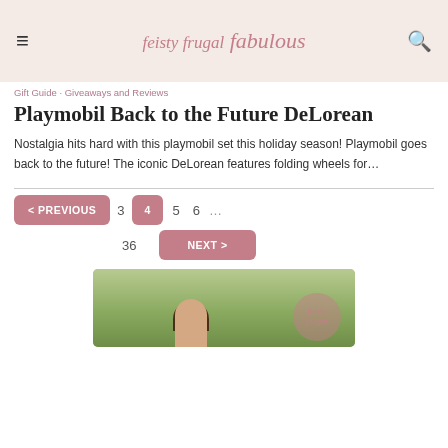feisty frugal fabulous — navigation header with hamburger menu and search icon
Gift Guide · Giveaways and Reviews
Playmobil Back to the Future DeLorean
Nostalgia hits hard with this playmobil set this holiday season! Playmobil goes back to the future! The iconic DeLorean features folding wheels for…
< PREVIOUS  3  4  5  6  ...  36  NEXT >
[Figure (photo): Photo of a woman outdoors with trees in background, with a circular logo overlay]